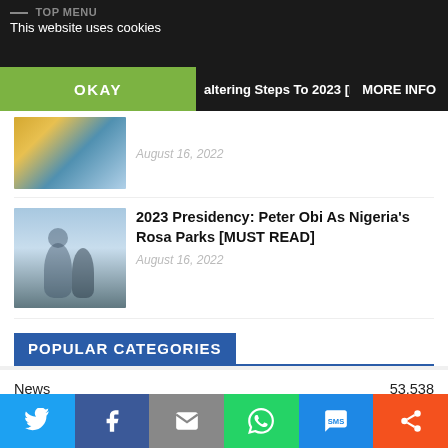TOP MENU
This website uses cookies
OKAY
...altering Steps To 2023 [MUST READ]
MORE INFO
[Figure (photo): Photo of people at a political event or rally]
August 16, 2022
[Figure (photo): Photo of a man speaking at a podium outdoors]
2023 Presidency: Peter Obi As Nigeria's Rosa Parks [MUST READ]
August 16, 2022
POPULAR CATEGORIES
News	53,538
Featured	35,348
Top News	18,457